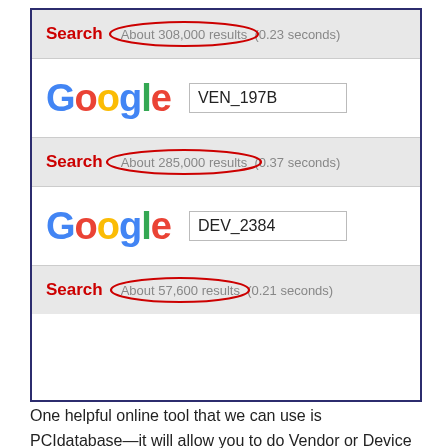[Figure (screenshot): Screenshot of Google search results for VEN_197B showing 'About 308,000 results (0.23 seconds)' circled in red, then Google search for DEV_2384 showing 'About 285,000 results (0.37 seconds)' circled in red, and a third search showing 'About 57,600 results (0.21 seconds)' circled in red.]
One helpful online tool that we can use is PCIdatabase—it will allow you to do Vendor or Device search by using the Vendor and Device ID of your Base System Devices. You just need to visit PCIdatabase.com, enter the ID in the